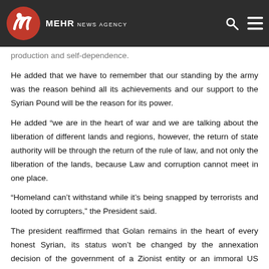[Figure (logo): Mehr News Agency logo with red stylized icon and white text on dark background header bar]
production and self-dependence.
He added that we have to remember that our standing by the army was the reason behind all its achievements and our support to the Syrian Pound will be the reason for its power.
He added “we are in the heart of war and we are talking about the liberation of different lands and regions, however, the return of state authority will be through the return of the rule of law, and not only the liberation of the lands, because Law and corruption cannot meet in one place.
“Homeland can’t withstand while it’s being snapped by terrorists and looted by corrupters,” the President said.
The president reaffirmed that Golan remains in the heart of every honest Syrian, its status won’t be changed by the annexation decision of the government of a Zionist entity or an immoral US regime, and our right to regain it is inseparable from our right to liberate all our lands from terrorism.